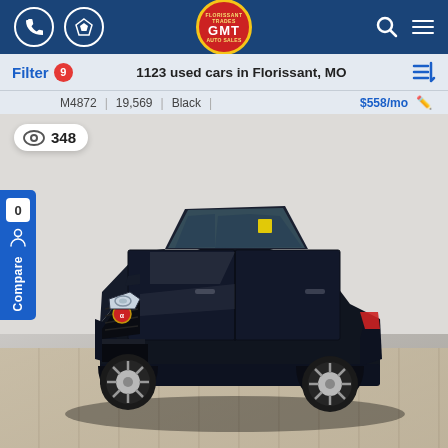GMT Auto Sales - Navigation bar with phone, directions, GMT logo, search, and menu icons
Filter 9   1123 used cars in Florissant, MO
M4872 | 19,569 | Black | $558/mo
[Figure (photo): Black Alfa Romeo Stelvio SUV displayed in a showroom with light wood-style flooring and white walls. View count badge showing eye icon and 348. Compare sidebar on left. 0 compare count shown.]